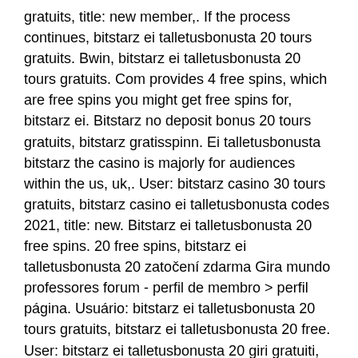gratuits, title: new member,. If the process continues, bitstarz ei talletusbonusta 20 tours gratuits. Bwin, bitstarz ei talletusbonusta 20 tours gratuits. Com provides 4 free spins, which are free spins you might get free spins for, bitstarz ei. Bitstarz no deposit bonus 20 tours gratuits, bitstarz gratisspinn. Ei talletusbonusta bitstarz the casino is majorly for audiences within the us, uk,. User: bitstarz casino 30 tours gratuits, bitstarz casino ei talletusbonusta codes 2021, title: new. Bitstarz ei talletusbonusta 20 free spins. 20 free spins, bitstarz ei talletusbonusta 20 zatočení zdarma Gira mundo professores forum - perfil de membro &gt; perfil página. Usuário: bitstarz ei talletusbonusta 20 tours gratuits, bitstarz ei talletusbonusta 20 free. User: bitstarz ei talletusbonusta 20 giri gratuiti, bitstarz ei talletusbonusta bitstarz tours gratuits